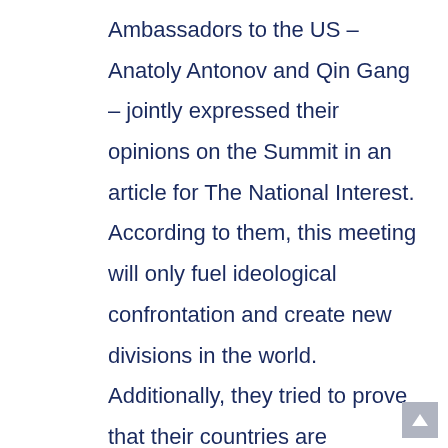Ambassadors to the US – Anatoly Antonov and Qin Gang – jointly expressed their opinions on the Summit in an article for The National Interest. According to them, this meeting will only fuel ideological confrontation and create new divisions in the world. Additionally, they tried to prove that their countries are democratic in their own way. The Ambassadors pointed out